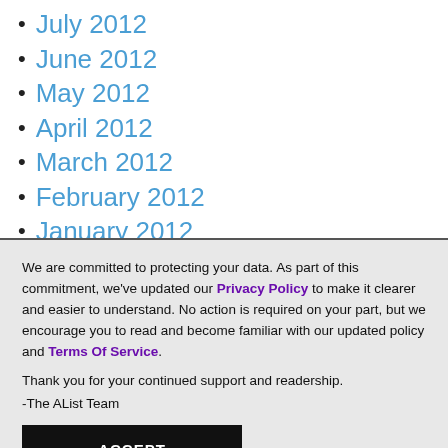July 2012
June 2012
May 2012
April 2012
March 2012
February 2012
January 2012
We are committed to protecting your data. As part of this commitment, we've updated our Privacy Policy to make it clearer and easier to understand. No action is required on your part, but we encourage you to read and become familiar with our updated policy and Terms Of Service.

Thank you for your continued support and readership.

-The AList Team